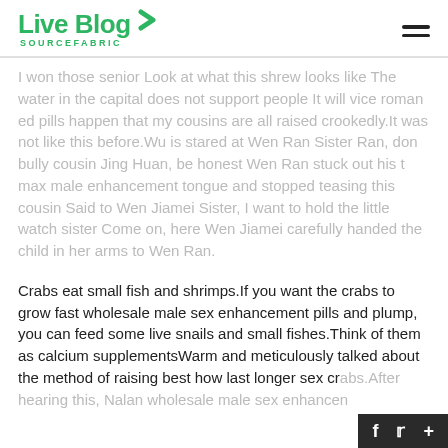Live Blog SOURCEFABRIC
I won those senior Look at what this shrew looks like The water in the capital does not support people It will vice roman ed pills happen that my cousins are all raised crookedly.It was not like this before.Wu is stared at Wen Ran Sister Ran, don bully cousin Jing Huan, be honest Wen Ran stuck out his t max male enhancement tongue and stopped teasing this cousin Said to Wen Jiamei Sister, I want to hold the little watch sister Come on, here Wen Jiamei carefully handed the child in her arms to Wen Ran.
Crabs eat small fish and shrimps.If you want the crabs to grow fast wholesale male sex enhancement pills and plump, you can feed some live snails and small fishes.Think of them as calcium supplementsWarm and meticulously talked about the method of raising best how last longer sex crabs.After hearing this, Nalan wholesale male sex enhancen...